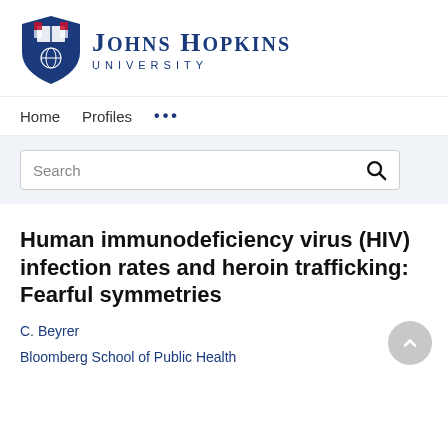[Figure (logo): Johns Hopkins University shield logo with book and globe symbols, and text 'JOHNS HOPKINS UNIVERSITY' to the right in dark navy blue]
Home   Profiles   ...
Search
Human immunodeficiency virus (HIV) infection rates and heroin trafficking: Fearful symmetries
C. Beyrer
Bloomberg School of Public Health